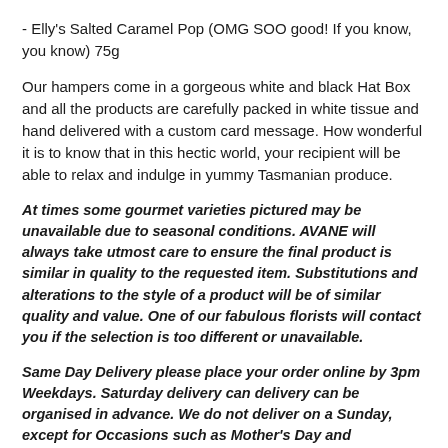- Elly's Salted Caramel Pop (OMG SOO good! If you know, you know) 75g
Our hampers come in a gorgeous white and black Hat Box and all the products are carefully packed in white tissue and hand delivered with a custom card message. How wonderful it is to know that in this hectic world, your recipient will be able to relax and indulge in yummy Tasmanian produce.
At times some gourmet varieties pictured may be unavailable due to seasonal conditions. AVANE will always take utmost care to ensure the final product is similar in quality to the requested item. Substitutions and alterations to the style of a product will be of similar quality and value. One of our fabulous florists will contact you if the selection is too different or unavailable.
Same Day Delivery please place your order online by 3pm Weekdays. Saturday delivery can delivery can be organised in advance. We do not deliver on a Sunday, except for Occasions such as Mother's Day and Valentine's Day. Check out our delivery information on all